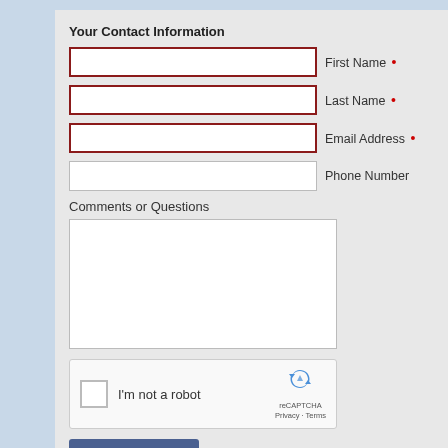Your Contact Information
First Name •
Last Name •
Email Address •
Phone Number
Comments or Questions
[Figure (other): reCAPTCHA widget with checkbox, 'I'm not a robot' text, reCAPTCHA logo, Privacy and Terms links]
Send